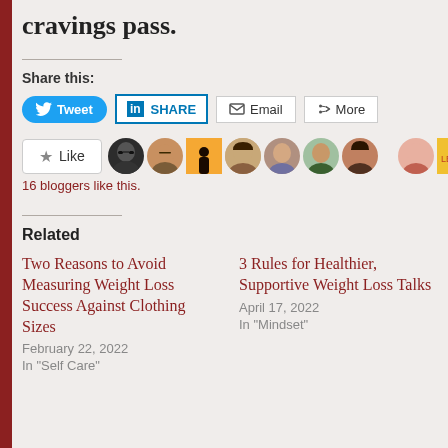cravings pass.
Share this:
[Figure (infographic): Social share buttons: Tweet (Twitter/blue pill), SHARE (LinkedIn/blue outline), Email (envelope icon), More (share icon)]
[Figure (infographic): Like button with star icon, followed by 9 blogger avatar thumbnails (profile photos). Text below: '16 bloggers like this.']
16 bloggers like this.
Related
Two Reasons to Avoid Measuring Weight Loss Success Against Clothing Sizes
February 22, 2022
In "Self Care"
3 Rules for Healthier, Supportive Weight Loss Talks
April 17, 2022
In "Mindset"